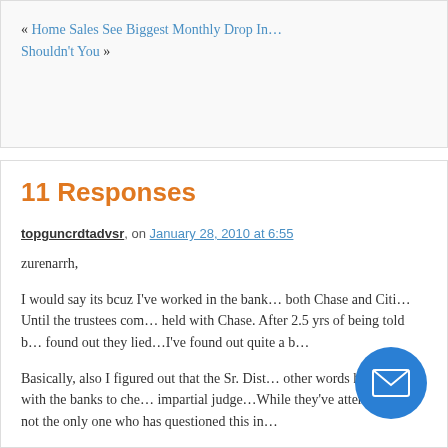« Home Sales See Biggest Monthly Drop In… Shouldn't You »
11 Responses
topguncrdtadvsr, on January 28, 2010 at 6:55
zurenarrh,
I would say its bcuz I've worked in the bank… both Chase and Citi…Until the trustees com… held with Chase. After 2.5 yrs of being told b… found out they lied…I've found out quite a b…
Basically, also I figured out that the Sr. Dist… other words he works with the banks to che… impartial judge…While they've attempted to… not the only one who has questioned this in…
I believe the Judges that recused want no p… nothing but tell the TRUTH…Which is yes I… fraud was created at the on… my ow… river without a paddle wha… like f… an ANSWER FOR ME….I ha… ay to ge… bills paid….To me I shouldn't be DENIED a…